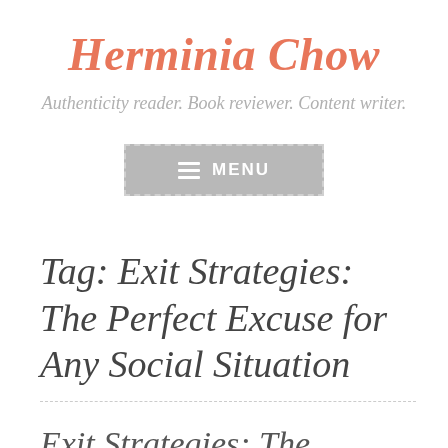Herminia Chow
Authenticity reader. Book reviewer. Content writer.
[Figure (other): Gray navigation menu button with dashed border, hamburger icon and MENU text in white]
Tag: Exit Strategies: The Perfect Excuse for Any Social Situation
Exit Strategies: The Perfect